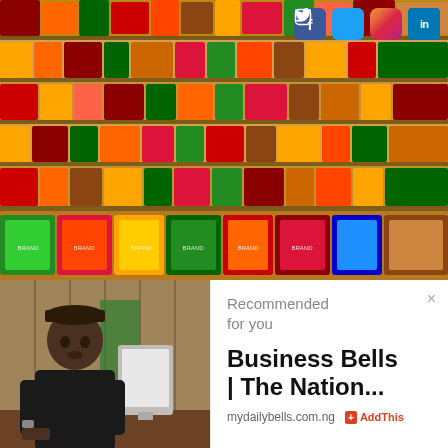[Figure (photo): A well-stocked supermarket shelf with many colorful products arranged in rows. Social media icons (Facebook, Twitter, Instagram, LinkedIn) visible in top-right corner.]
[Figure (photo): A man in dark traditional attire sitting at a desk with a computer monitor, in what appears to be an office setting.]
Recommended for you
Business Bells | The Nation...
mydailybells.com.ng   + AddThis